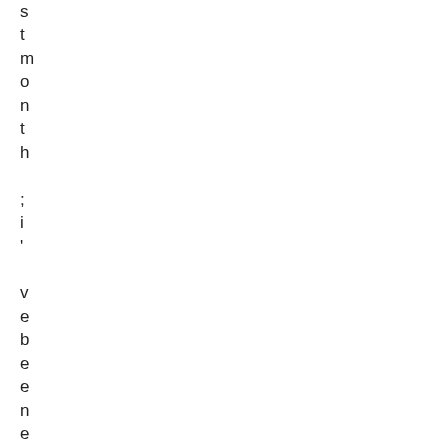stmonth; i, vebeeexperimenting